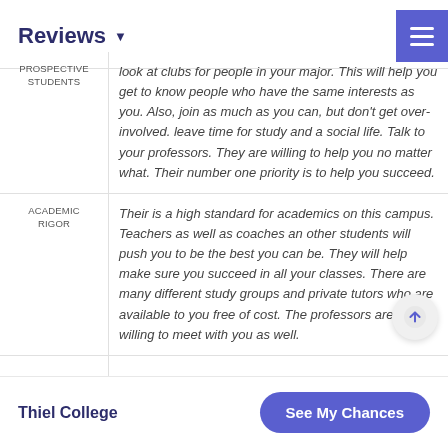Reviews
| Category | Review Text |
| --- | --- |
| PROSPECTIVE STUDENTS | look at clubs for people in your major. This will help you get to know people who have the same interests as you. Also, join as much as you can, but don't get over-involved. leave time for study and a social life. Talk to your professors. They are willing to help you no matter what. Their number one priority is to help you succeed. |
| ACADEMIC RIGOR | Their is a high standard for academics on this campus. Teachers as well as coaches an other students will push you to be the best you can be. They will help make sure you succeed in all your classes. There are many different study groups and private tutors who are available to you free of cost. The professors are always willing to meet with you as well. |
Thiel College  See My Chances